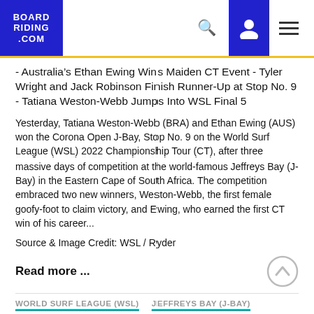BOARDRIDING.COM
- Australia's Ethan Ewing Wins Maiden CT Event - Tyler Wright and Jack Robinson Finish Runner-Up at Stop No. 9 - Tatiana Weston-Webb Jumps Into WSL Final 5
Yesterday, Tatiana Weston-Webb (BRA) and Ethan Ewing (AUS) won the Corona Open J-Bay, Stop No. 9 on the World Surf League (WSL) 2022 Championship Tour (CT), after three massive days of competition at the world-famous Jeffreys Bay (J-Bay) in the Eastern Cape of South Africa. The competition embraced two new winners, Weston-Webb, the first female goofy-foot to claim victory, and Ewing, who earned the first CT win of his career...
Source & Image Credit: WSL / Ryder
Read more ...
WORLD SURF LEAGUE (WSL)
JEFFREYS BAY (J-BAY)
SURFING WORLD (BRS)
TATIANA WESTON-WEBB